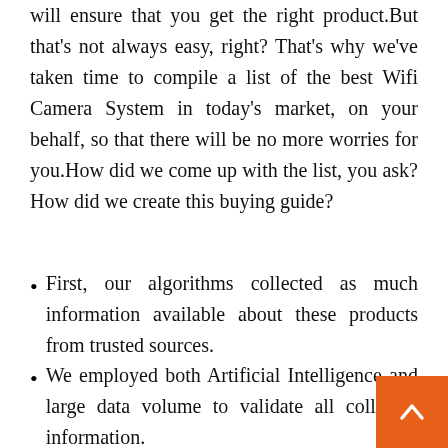will ensure that you get the right product.But that's not always easy, right? That's why we've taken time to compile a list of the best Wifi Camera System in today's market, on your behalf, so that there will be no more worries for you.How did we come up with the list, you ask? How did we create this buying guide?
First, our algorithms collected as much information available about these products from trusted sources.
We employed both Artificial Intelligence and large data volume to validate all collected information.
Then our AI ranked them on their quality price ratio using industry-standard criteria